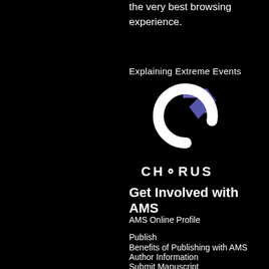the very best browsing experience.
Explaining Extreme Events
[Figure (logo): CHORUS logo: white circular arrow with purple/blue upward arrow, text CHORUS below]
Get Involved with AMS
AMS Online Profile
Publish
Benefits of Publishing with AMS
Author Information
Submit Manuscript
Subscribe